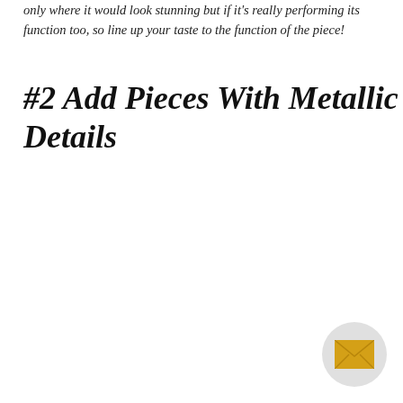only where it would look stunning but if it's really performing its function too, so line up your taste to the function of the piece!
#2 Add Pieces With Metallic Details
[Figure (other): Email/contact button - circular light gray button with a gold/yellow envelope icon]